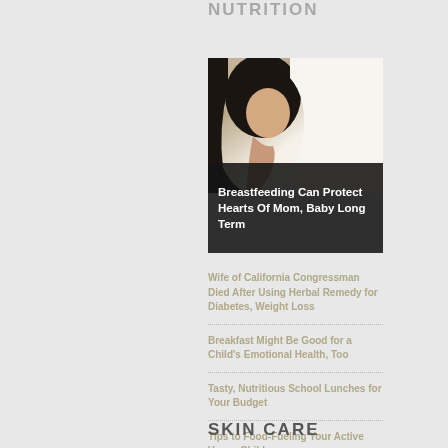NUTRITION
[Figure (photo): Photo of a woman breastfeeding with a dark overlay caption bar at bottom reading 'Breastfeeding Can Protect Hearts Of Mom, Baby Long Term']
Breastfeeding Can Protect Hearts Of Mom, Baby Long Term
Wife of California Congressman Died After Using Herbal Remedy for Diabetes, Weight Loss
Breakfast Might Be Good for a Child's Emotional Health, Too
Tasty, Nutritious School Lunches for Your Budget
Tips to Food-Fueling Your Active Vegan Child
SKIN CARE